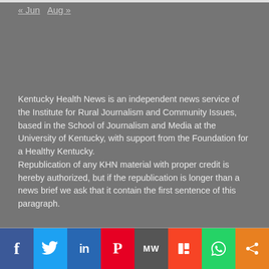« Jun  Aug »
Kentucky Health News is an independent news service of the Institute for Rural Journalism and Community Issues, based in the School of Journalism and Media at the University of Kentucky, with support from the Foundation for a Healthy Kentucky.
Republication of any KHN material with proper credit is hereby authorized, but if the republication is longer than a news brief we ask that it contain the first sentence of this paragraph.
[Figure (infographic): Social media sharing buttons bar: Facebook (blue), Twitter (light blue), LinkedIn (dark blue), Pinterest (red), MW (dark gray), Mix (orange-red), WhatsApp (green), Share (orange)]